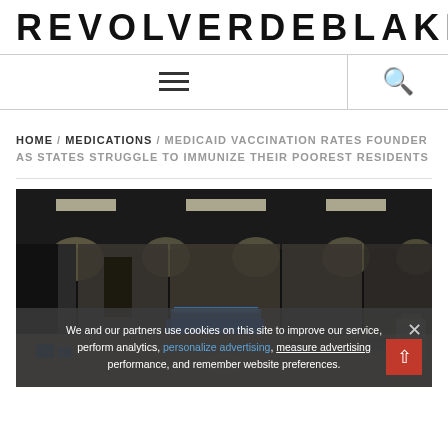REVOLVERDEBLAKE
[Figure (screenshot): Navigation bar with hamburger menu icon and search icon]
HOME / MEDICATIONS / MEDICAID VACCINATION RATES FOUNDER AS STATES STRUGGLE TO IMMUNIZE THEIR POOREST RESIDENTS
[Figure (photo): Interior of a large convention center or exhibition hall being set up, with dark ceiling, overhead lights, blue draped tables, and scattered equipment on the concrete floor.]
We and our partners use cookies on this site to improve our service, perform analytics, personalize advertising, measure advertising performance, and remember website preferences.